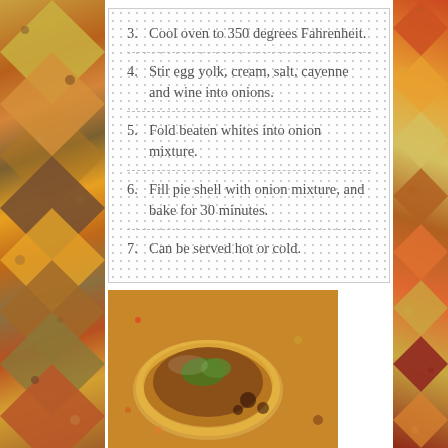3. Cool oven to 350 degrees Fahrenheit.
4. Stir egg yolk, cream, salt, cayenne and wine into onions.
5. Fold beaten whites into onion mixture.
6. Fill pie shell with onion mixture, and bake for 30 minutes.
7. Can be served hot or cold.
[Figure (photo): A food photo showing a pie or tart with green garnish and dark sauce, surrounded by spices.]